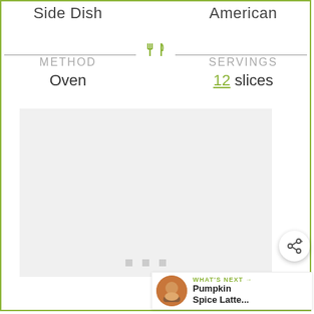Side Dish
American
METHOD
Oven
SERVINGS
12 slices
[Figure (photo): Light gray placeholder image box]
WHAT'S NEXT → Pumpkin Spice Latte...